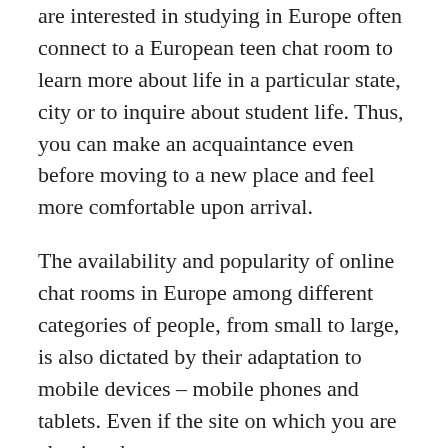are interested in studying in Europe often connect to a European teen chat room to learn more about life in a particular state, city or to inquire about student life. Thus, you can make an acquaintance even before moving to a new place and feel more comfortable upon arrival.
The availability and popularity of online chat rooms in Europe among different categories of people, from small to large, is also dictated by their adaptation to mobile devices – mobile phones and tablets. Even if the site on which you are chatting does not represent a separate program in the form of an application, you can always have access to a European live chat at any time of the day without being at home just taking care of the Internet connection.
There are a lot of people who just love communication in Europe, and many of them meet today on the Internet. You can go directly to voice or video